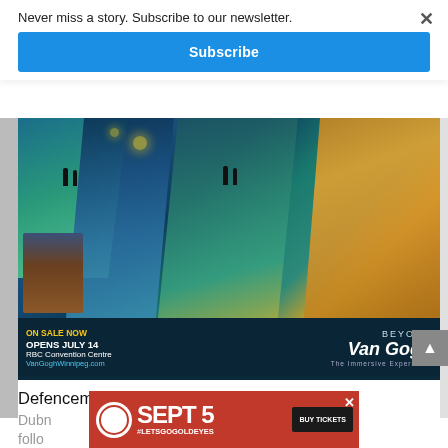Never miss a story. Subscribe to our newsletter.
Subscribe
[Figure (illustration): Beyond Van Gogh immersive experience advertisement. Shows diagonal strips of Van Gogh paintings projected in a large space with silhouetted visitors. Bottom banner reads: ON SALE NOW / OPENS JULY 14 / RBC Convention Centre / VanGoghWinnipeg.com / BEYOND Van Gogh The Immersive Experience]
Defenceman Jacob Trouba scored on Devan Dubn follow
[Figure (illustration): Sept 5 #LETSGO GOLDEYES BUY TICKETS advertisement in red with circular logo]